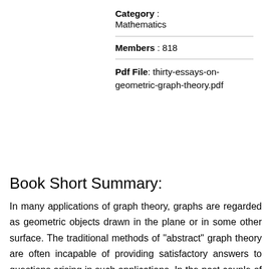Category : Mathematics
Members : 818
Pdf File: thirty-essays-on-geometric-graph-theory.pdf
Book Short Summary:
In many applications of graph theory, graphs are regarded as geometric objects drawn in the plane or in some other surface. The traditional methods of "abstract" graph theory are often incapable of providing satisfactory answers to questions arising in such applications. In the past couple of decades, many powerful new